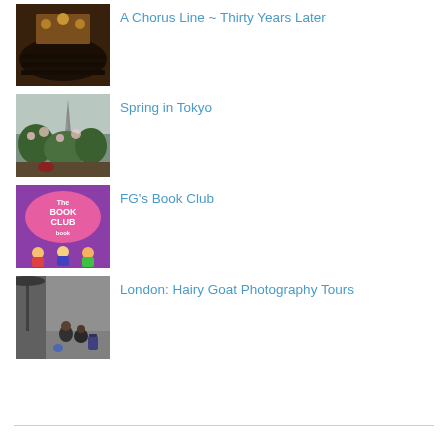[Figure (photo): Interior of a theater with audience and stage lighting, warm tones]
A Chorus Line ~ Thirty Years Later
[Figure (photo): Outdoor scene with a tower (Eiffel Tower-like) and people among trees with spring blossoms]
Spring in Tokyo
[Figure (photo): Purple cover of 'The Book Club book' with cartoon children illustrations]
FG's Book Club
[Figure (photo): Street scene with people sitting on a sidewalk, one with luggage, grey tones]
London: Hairy Goat Photography Tours